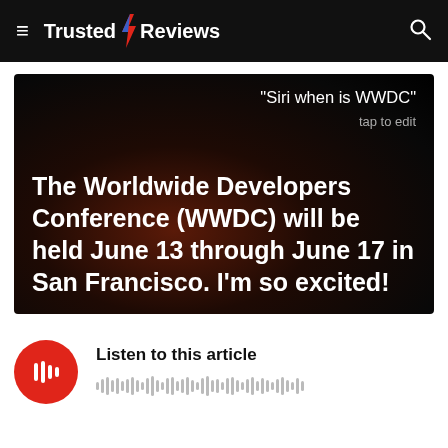Trusted Reviews
[Figure (screenshot): Siri response on iOS showing the query 'Siri when is WWDC' with tap to edit option, and the answer: 'The Worldwide Developers Conference (WWDC) will be held June 13 through June 17 in San Francisco. I'm so excited!']
[Figure (other): Audio player widget with red circular play button and waveform. Text: Listen to this article]